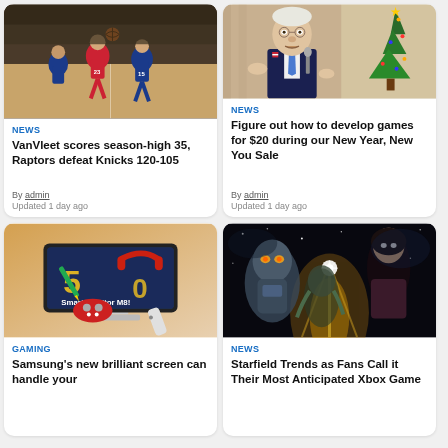[Figure (photo): Basketball game: Raptors vs Knicks players on court]
NEWS
VanVleet scores season-high 35, Raptors defeat Knicks 120-105
By admin
Updated 1 day ago
[Figure (photo): Man in suit speaking at podium with Christmas tree in background]
NEWS
Figure out how to develop games for $20 during our New Year, New You Sale
By admin
Updated 1 day ago
[Figure (photo): Samsung Smart Monitor M8 with colorful gaming accessories]
GAMING
Samsung's new brilliant screen can handle your
[Figure (photo): Starfield game promotional art with robot and characters]
NEWS
Starfield Trends as Fans Call it Their Most Anticipated Xbox Game